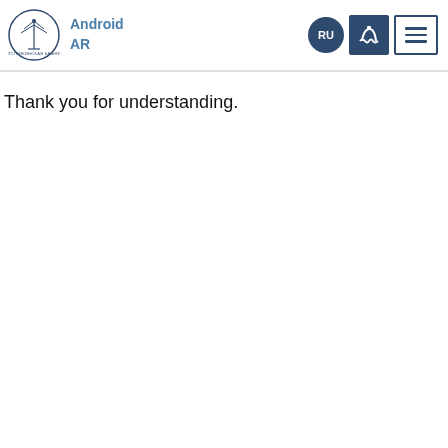Android AR
Thank you for understanding.